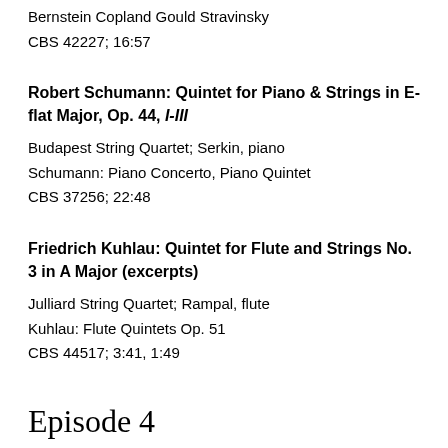Bernstein Copland Gould Stravinsky
CBS 42227; 16:57
Robert Schumann: Quintet for Piano & Strings in E-flat Major, Op. 44, I-III
Budapest String Quartet; Serkin, piano
Schumann: Piano Concerto, Piano Quintet
CBS 37256; 22:48
Friedrich Kuhlau: Quintet for Flute and Strings No. 3 in A Major (excerpts)
Julliard String Quartet; Rampal, flute
Kuhlau: Flute Quintets Op. 51
CBS 44517; 3:41, 1:49
Episode 4